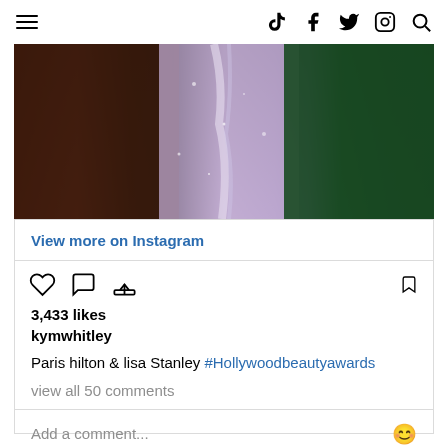Navigation bar with hamburger menu and social icons: TikTok, Facebook, Twitter, Instagram, Search
[Figure (photo): Cropped photo showing people in glamorous outfits at an event — a sparkly lavender/lilac gown in the center, dark fabric on the left, green fabric on the right]
View more on Instagram
3,433 likes
kymwhitley
Paris hilton & lisa Stanley #Hollywoodbeautyawards
view all 50 comments
Add a comment...